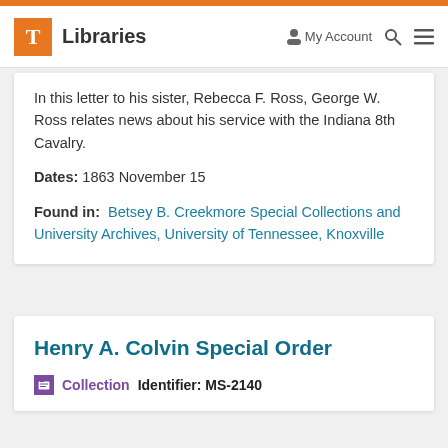T Libraries | My Account | Search | Menu
In this letter to his sister, Rebecca F. Ross, George W. Ross relates news about his service with the Indiana 8th Cavalry.
Dates: 1863 November 15
Found in: Betsey B. Creekmore Special Collections and University Archives, University of Tennessee, Knoxville
Henry A. Colvin Special Order
Collection   Identifier: MS-2140